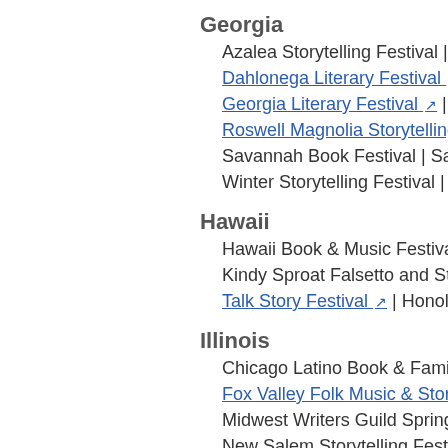Georgia
Azalea Storytelling Festival | L…
Dahlonega Literary Festival ↗
Georgia Literary Festival ↗ | …
Roswell Magnolia Storytelling…
Savannah Book Festival | Sav…
Winter Storytelling Festival | A…
Hawaii
Hawaii Book & Music Festival…
Kindy Sproat Falsetto and Sto…
Talk Story Festival ↗ | Honolu…
Illinois
Chicago Latino Book & Family…
Fox Valley Folk Music & Story…
Midwest Writers Guild Spring…
New Salem Storytelling Festiv…
Newberry Library Book Fair ↗
Printers Row Book Fair ↗ | C…
Storytelling at the Prairie Cent…